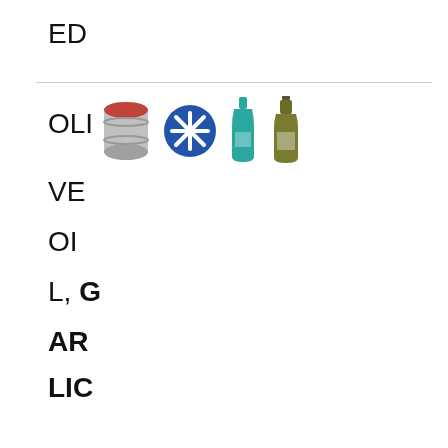ED
[Figure (illustration): Four icons in a row: a gray barrel/drum with a red top, a blue circular icon with a white snowflake/asterisk symbol, a teal/green glass bottle, and an olive/dark yellow-green glass bottle.]
OLIVE OIL, GARLIC & ROAST